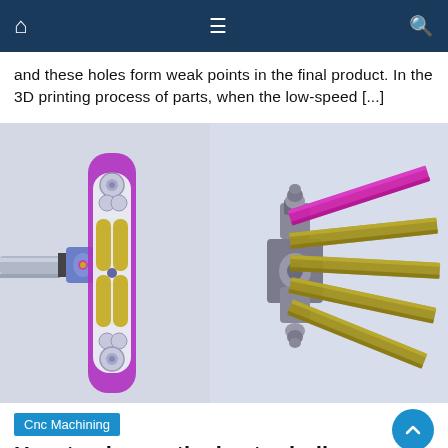Navigation bar with home, menu, and search icons
and these holes form weak points in the final product. In the 3D printing process of parts, when the low-speed [...]
[Figure (engineering-diagram): Two 3D CAD renderings side by side. Left: a purple and gold orthopedic spine implant/plate with circular holes, connected to a gray cylindrical rod via a blue/purple hub. Right: a gray robotic arm or tool holder assembly holding multiple flat gold/olive-colored blade inserts, with one magenta/purple insert at the top.]
Cnc Machining
How to choose the best grinding process for 3D